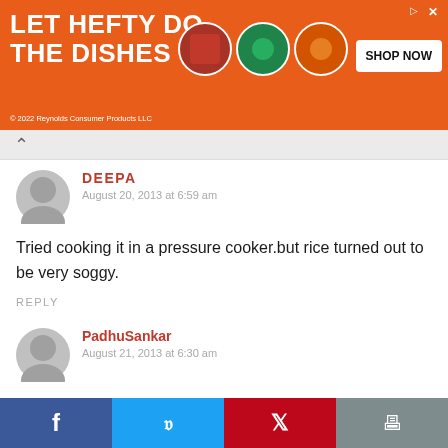[Figure (illustration): Hefty dish soap advertisement banner with orange background, text 'LET HEFTY DO THE DISHES', product images, and 'SHOP NOW' button]
DEEPA
August 20, 2013 at 6:59 am
Tried cooking it in a pressure cooker.but rice turned out to be very soggy.
REPLY
PadhuSankar
August 21, 2013 at 6:30 am
Deepa – It might be due to the quality of rice. Usually we add water in the ratio 1:2 for pulao and biryani